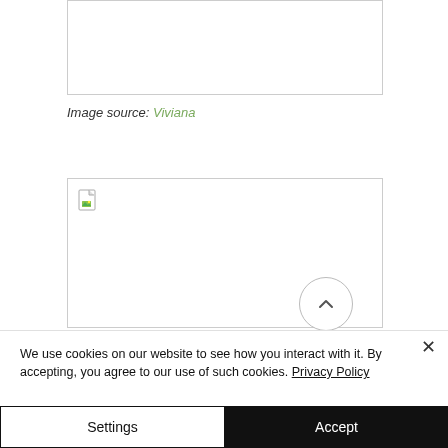[Figure (photo): Partially visible image placeholder at top of page, cropped, with border]
Image source: Viviana
[Figure (photo): Image placeholder with broken image icon in top-left corner, bordered rectangle]
We use cookies on our website to see how you interact with it. By accepting, you agree to our use of such cookies. Privacy Policy
Settings
Accept